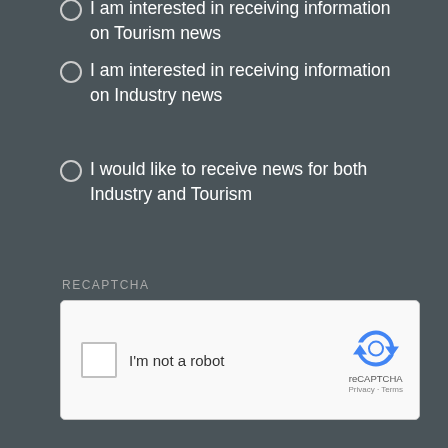I am interested in receiving information on Tourism news
I am interested in receiving information on Industry news
I would like to receive news for both Industry and Tourism
RECAPTCHA
[Figure (screenshot): reCAPTCHA widget with checkbox, 'I'm not a robot' text, and reCAPTCHA logo with Privacy and Terms links]
[Figure (logo): Ratings & Reviews powered by TripAdvisor logo]
CONTACT US
info@bayofquinte.ca
P. 613-968-4427